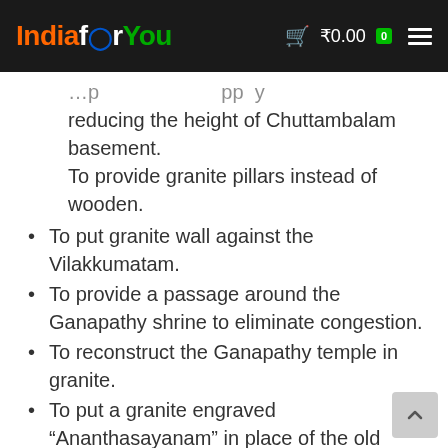IndiaforYou ₹0.00 0
reducing the height of Chuttambalam basement.
To provide granite pillars instead of wooden.
To put granite wall against the Vilakkumatam.
To provide a passage around the Ganapathy shrine to eliminate congestion.
To reconstruct the Ganapathy temple in granite.
To put a granite engraved “Ananthasayanam” in place of the old “Ananthasayanam” (Mahavishnu lying over serpent) painting which was lost in fire.
To widen the gates at the north and east entrances.
To reduce the size of the Nivedyathara at the south of the Mandapam.